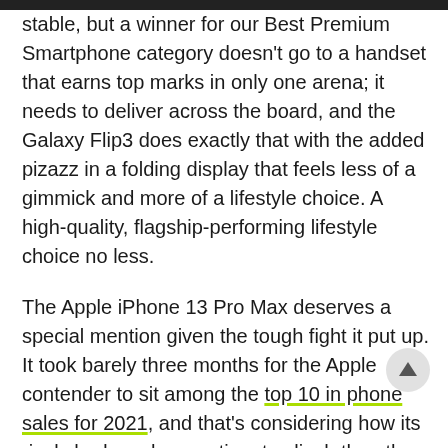stable, but a winner for our Best Premium Smartphone category doesn't go to a handset that earns top marks in only one arena; it needs to deliver across the board, and the Galaxy Flip3 does exactly that with the added pizazz in a folding display that feels less of a gimmick and more of a lifestyle choice. A high-quality, flagship-performing lifestyle choice no less.
The Apple iPhone 13 Pro Max deserves a special mention given the tough fight it put up. It took barely three months for the Apple contender to sit among the top 10 in phone sales for 2021, and that's considering how its rivals had much more time to clinch the other nine spots. But, Apple playing it safe meant that the accolade went to a rival that not only